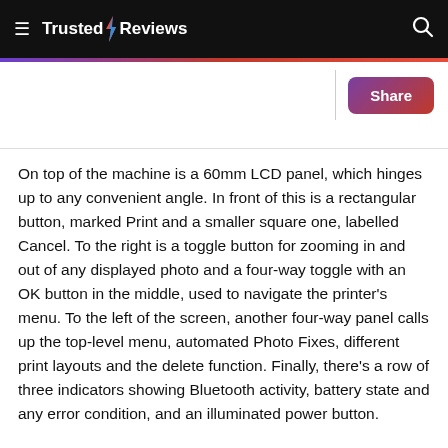Trusted Reviews
[Figure (logo): Trusted Reviews logo with lightning bolt icon on black header bar]
Share
On top of the machine is a 60mm LCD panel, which hinges up to any convenient angle. In front of this is a rectangular button, marked Print and a smaller square one, labelled Cancel. To the right is a toggle button for zooming in and out of any displayed photo and a four-way toggle with an OK button in the middle, used to navigate the printer’s menu. To the left of the screen, another four-way panel calls up the top-level menu, automated Photo Fixes, different print layouts and the delete function. Finally, there’s a row of three indicators showing Bluetooth activity, battery state and any error condition, and an illuminated power button.